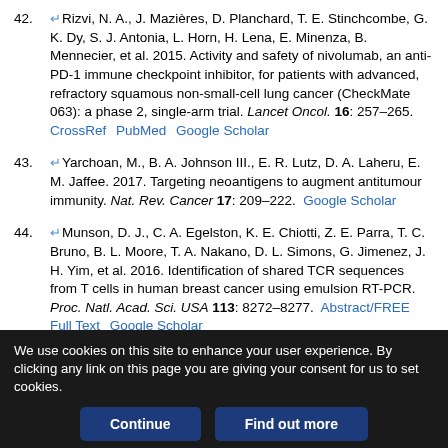42. Rizvi, N. A., J. Mazières, D. Planchard, T. E. Stinchcombe, G. K. Dy, S. J. Antonia, L. Horn, H. Lena, E. Minenza, B. Mennecier, et al. 2015. Activity and safety of nivolumab, an anti-PD-1 immune checkpoint inhibitor, for patients with advanced, refractory squamous non-small-cell lung cancer (CheckMate 063): a phase 2, single-arm trial. Lancet Oncol. 16: 257–265. CrossRef PubMed Google Scholar
43. Yarchoan, M., B. A. Johnson III., E. R. Lutz, D. A. Laheru, E. M. Jaffee. 2017. Targeting neoantigens to augment antitumour immunity. Nat. Rev. Cancer 17: 209–222. Google Scholar
44. Munson, D. J., C. A. Egelston, K. E. Chiotti, Z. E. Parra, T. C. Bruno, B. L. Moore, T. A. Nakano, D. L. Simons, G. Jimenez, J. H. Yim, et al. 2016. Identification of shared TCR sequences from T cells in human breast cancer using emulsion RT-PCR. Proc. Natl. Acad. Sci. USA 113: 8272–8277. Abstract/FREE Full Text Google Scholar
We use cookies on this site to enhance your user experience. By clicking any link on this page you are giving your consent for us to set cookies.